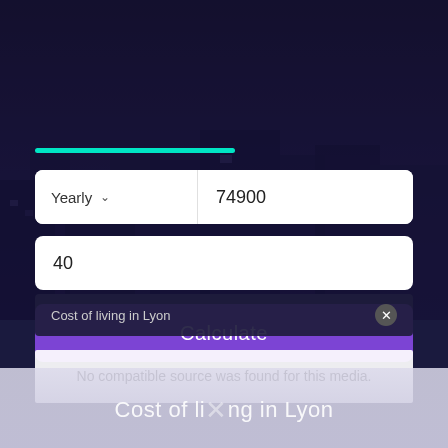[Figure (screenshot): Dark purple/navy city background image overlay with buildings visible]
[Figure (infographic): Teal/cyan horizontal progress bar]
Yearly  74900
40
Calculate
Cost of living in Lyon
No compatible source was found for this media.
Cost of living in Lyon